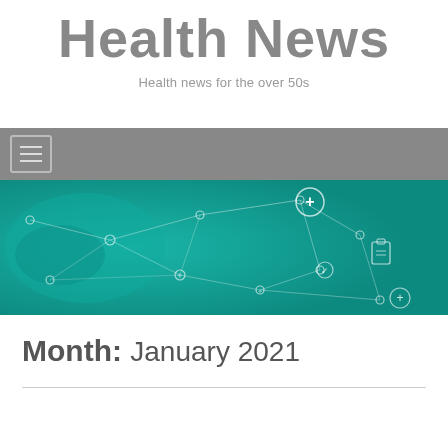Health News
Health news for the over 50s
[Figure (infographic): Teal-colored banner image showing a global network/map overlay with medical icons (plus signs, clipboard, check marks) connected by lines, suggesting a health information network.]
Month: January 2021